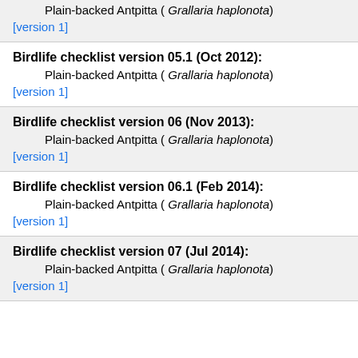Plain-backed Antpitta ( Grallaria haplonota)
[version 1]
Birdlife checklist version 05.1 (Oct 2012):
Plain-backed Antpitta ( Grallaria haplonota)
[version 1]
Birdlife checklist version 06 (Nov 2013):
Plain-backed Antpitta ( Grallaria haplonota)
[version 1]
Birdlife checklist version 06.1 (Feb 2014):
Plain-backed Antpitta ( Grallaria haplonota)
[version 1]
Birdlife checklist version 07 (Jul 2014):
Plain-backed Antpitta ( Grallaria haplonota)
[version 1]